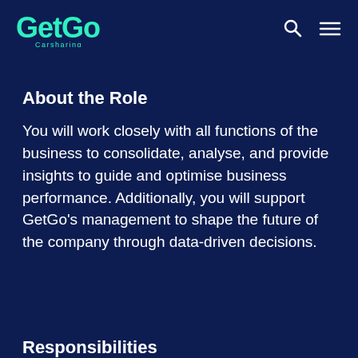[Figure (logo): GetGo Carsharing logo in teal/mint color with navigation icons (search and hamburger menu) on dark navy background]
About the Role
You will work closely with all functions of the business to consolidate, analyse, and provide insights to guide and optimise business performance. Additionally, you will support GetGo’s management to shape the future of the company through data-driven decisions.
Responsibilities